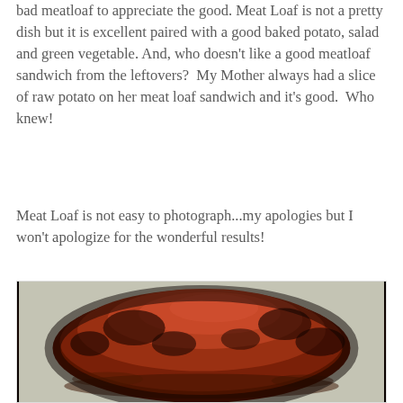bad meatloaf to appreciate the good. Meat Loaf is not a pretty dish but it is excellent paired with a good baked potato, salad and green vegetable. And, who doesn't like a good meatloaf sandwich from the leftovers?  My Mother always had a slice of raw potato on her meat loaf sandwich and it's good.  Who knew!
Meat Loaf is not easy to photograph...my apologies but I won't apologize for the wonderful results!
[Figure (photo): A close-up photo of a cooked meatloaf in a white baking dish. The meatloaf has a dark, caramelized, reddish-brown glazed top crust with charred edges and juices around it.]